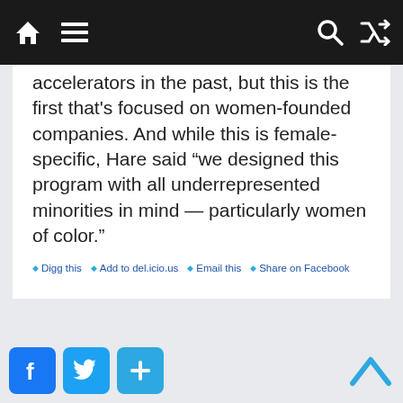Navigation bar with home, menu, search, and shuffle icons
accelerators in the past, but this is the first that's focused on women-founded companies. And while this is female-specific, Hare said “we designed this program with all underrepresented minorities in mind — particularly women of color.”
Digg this | Add to del.icio.us | Email this | Share on Facebook
Social share buttons: Facebook, Twitter, Add; Back to top arrow